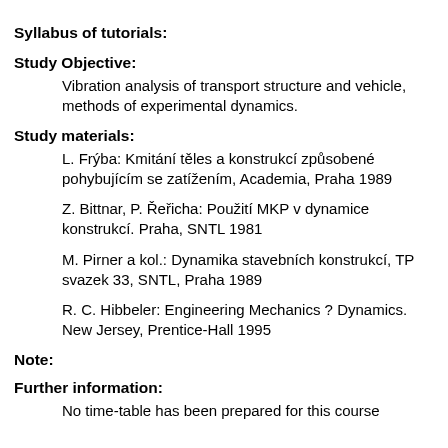Syllabus of tutorials:
Study Objective:
Vibration analysis of transport structure and vehicle, methods of experimental dynamics.
Study materials:
L. Frýba: Kmitání těles a konstrukcí způsobené pohybujícím se zatížením, Academia, Praha 1989
Z. Bittnar, P. Řeřicha: Použití MKP v dynamice konstrukcí. Praha, SNTL 1981
M. Pirner a kol.: Dynamika stavebních konstrukcí, TP svazek 33, SNTL, Praha 1989
R. C. Hibbeler: Engineering Mechanics ? Dynamics. New Jersey, Prentice-Hall 1995
Note:
Further information:
No time-table has been prepared for this course